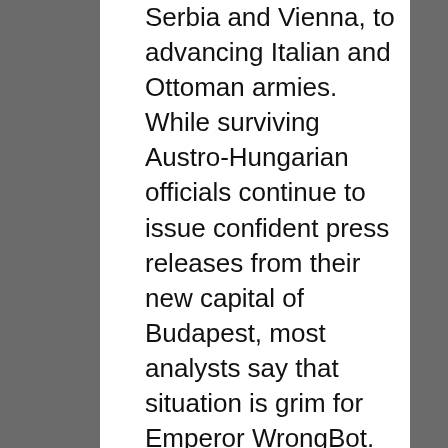Serbia and Vienna, to advancing Italian and Ottoman armies. While surviving Austro-Hungarian officials continue to issue confident press releases from their new capital of Budapest, most analysts say that situation is grim for Emperor WrongBot. "The loss of Vienna, the